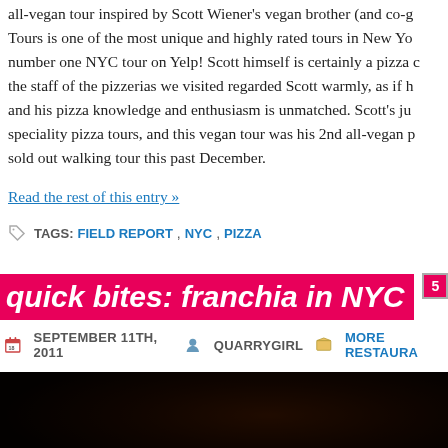all-vegan tour inspired by Scott Wiener's vegan brother (and co-g Tours is one of the most unique and highly rated tours in New Yo number one NYC tour on Yelp! Scott himself is certainly a pizza c the staff of the pizzerias we visited regarded Scott warmly, as if h and his pizza knowledge and enthusiasm is unmatched. Scott's ju speciality pizza tours, and this vegan tour was his 2nd all-vegan p sold out walking tour this past December.
Read the rest of this entry »
TAGS: FIELD REPORT, NYC, PIZZA
quick bites: franchia in NYC
SEPTEMBER 11TH, 2011  QUARRYGIRL  MORE RESTAURA
[Figure (photo): Dark restaurant interior photo]